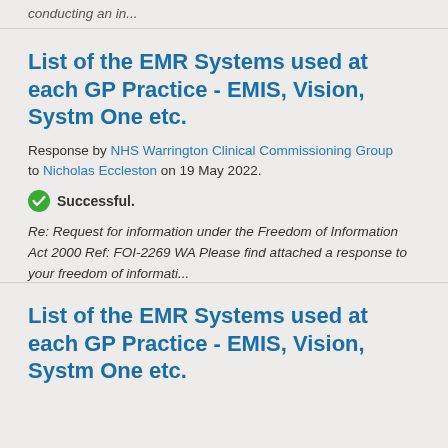conducting an in...
List of the EMR Systems used at each GP Practice - EMIS, Vision, Systm One etc.
Response by NHS Warrington Clinical Commissioning Group to Nicholas Eccleston on 19 May 2022.
Successful.
Re: Request for information under the Freedom of Information Act 2000 Ref: FOI-2269 WA Please find attached a response to your freedom of informati...
List of the EMR Systems used at each GP Practice - EMIS, Vision, Systm One etc.